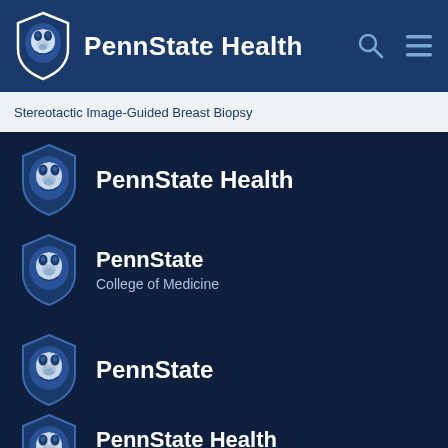PennState Health
Stereotactic Image-Guided Breast Biopsy
[Figure (logo): PennState Health logo with Nittany Lion shield and text 'PennState Health']
[Figure (logo): PennState College of Medicine logo with Nittany Lion shield and text 'PennState / College of Medicine']
[Figure (logo): PennState logo with Nittany Lion shield and text 'PennState']
[Figure (logo): PennState Health Children's Hospital logo with Nittany Lion shield and text 'PennState Health / Children's Hospital']